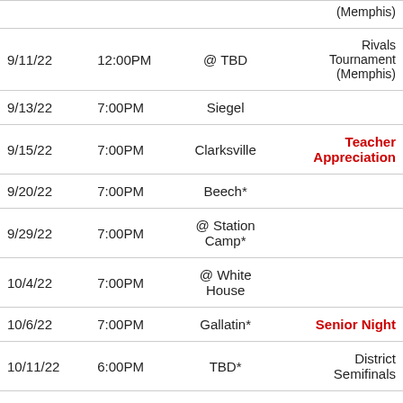| Date | Time | Opponent | Notes |
| --- | --- | --- | --- |
|  |  |  | (...) |
| 9/11/22 | 12:00PM | @ TBD | Rivals Tournament (Memphis) |
| 9/13/22 | 7:00PM | Siegel |  |
| 9/15/22 | 7:00PM | Clarksville | Teacher Appreciation |
| 9/20/22 | 7:00PM | Beech* |  |
| 9/29/22 | 7:00PM | @ Station Camp* |  |
| 10/4/22 | 7:00PM | @ White House |  |
| 10/6/22 | 7:00PM | Gallatin* | Senior Night |
| 10/11/22 | 6:00PM | TBD* | District Semifinals |
| 10/13/22 | 7:00PM | TBD* | District Finals |